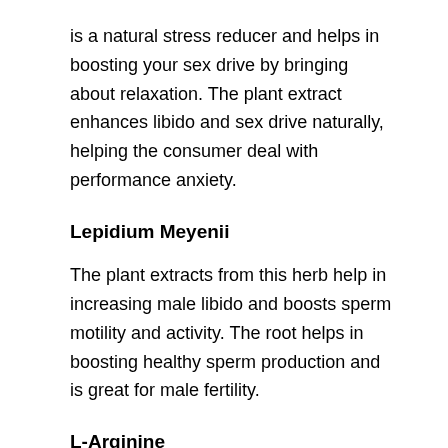is a natural stress reducer and helps in boosting your sex drive by bringing about relaxation. The plant extract enhances libido and sex drive naturally, helping the consumer deal with performance anxiety.
Lepidium Meyenii
The plant extracts from this herb help in increasing male libido and boosts sperm motility and activity. The root helps in boosting healthy sperm production and is great for male fertility.
L-Arginine
The amino acid boosts nitric oxide production and helps in boosting blood flow to muscles and organs. With increased blood flow, the penis gets better